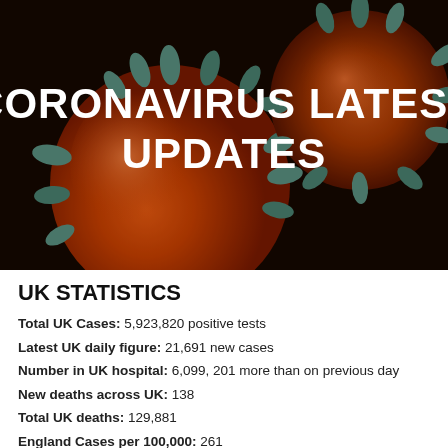[Figure (photo): Close-up electron-microscope-style illustration of coronavirus particles (orange/red spheres with teal spike proteins) against a dark background, with white bold text overlay reading 'CORONAVIRUS LATEST UPDATES']
UK STATISTICS
Total UK Cases: 5,923,820 positive tests
Latest UK daily figure: 21,691 new cases
Number in UK hospital: 6,099, 201 more than on previous day
New deaths across UK: 138
Total UK deaths: 129,881
England Cases per 100,000: 261
R number in UK: 1.1 to 1.4